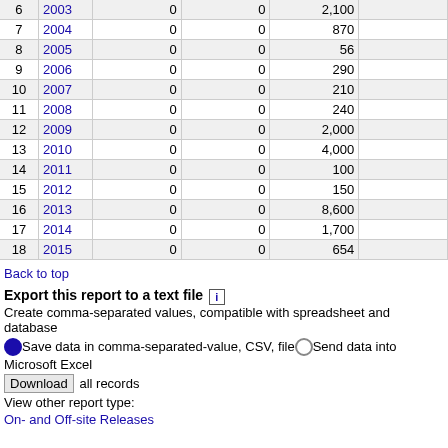| # | Year | Col3 | Col4 | Col5 | Col6 |
| --- | --- | --- | --- | --- | --- |
| 6 | 2003 | 0 | 0 | 2,100 |  |
| 7 | 2004 | 0 | 0 | 870 |  |
| 8 | 2005 | 0 | 0 | 56 |  |
| 9 | 2006 | 0 | 0 | 290 |  |
| 10 | 2007 | 0 | 0 | 210 |  |
| 11 | 2008 | 0 | 0 | 240 |  |
| 12 | 2009 | 0 | 0 | 2,000 |  |
| 13 | 2010 | 0 | 0 | 4,000 |  |
| 14 | 2011 | 0 | 0 | 100 |  |
| 15 | 2012 | 0 | 0 | 150 |  |
| 16 | 2013 | 0 | 0 | 8,600 |  |
| 17 | 2014 | 0 | 0 | 1,700 |  |
| 18 | 2015 | 0 | 0 | 654 |  |
Back to top
Export this report to a text file
Create comma-separated values, compatible with spreadsheet and database
Save data in comma-separated-value, CSV, file  Send data into Microsoft Excel
Download all records
View other report type:
On- and Off-site Releases